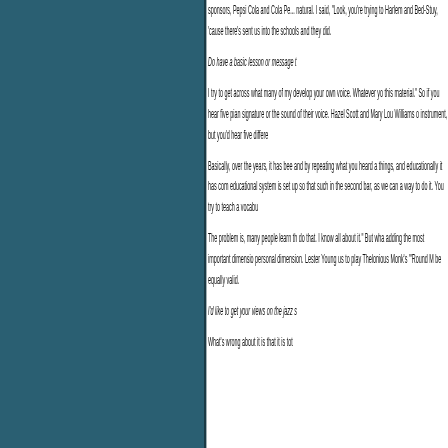sponsors, Pepsi Cola and Cola Pe... natural. I said, "Look, you're trying to Harlem and Bed-Stuy, 'cause there's sent us into the schools and they did.
Do have a basic lesson or message t...
I try to get across what many of my develop your own voice. Whatever yo this material." So if you hear five pian signature or the sound of their voice. Hazel Scott and Mary Lou Williams o instrument, but you'd hear five differe
Basically, over the years, it has bee and by repeating what you heard a things, and educationally it has com educational system is set up so that such in the second bar, as we can a way to do it. You try to teach a vocabu
The problem is, many people learn th do that. I know all about it." But wha adding the most important dimensio personal dimension. Lester Young us to play Thelonious Monk's "'Round M be equally valid.
I'd like to get your views on the jazz s
What's wrong about it is that it is tot...